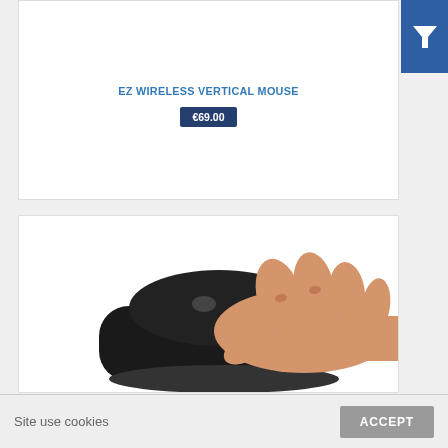EZ WIRELESS VERTICAL MOUSE
€69.00
[Figure (photo): A hand gripping a black vertical ergonomic mouse from the side, showing the upright握 posture]
Site use cookies
ACCEPT